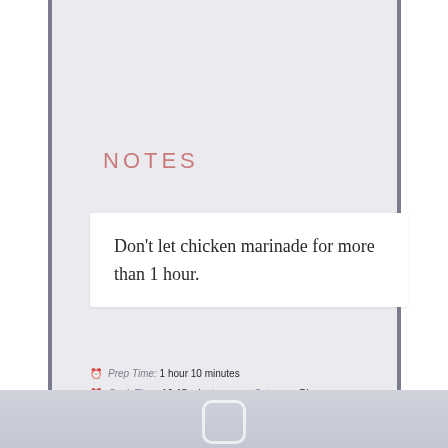NOTES
Don't let chicken marinade for more than 1 hour.
⏰ Prep Time: 1 hour 10 minutes
⏰ Cook Time: 10-15 minutes   ■ Category: Dinner
▣ Method: Grill   ▶ Cuisine: American
Keywords: grilled chicken, chicken marinade, balsamic chicken